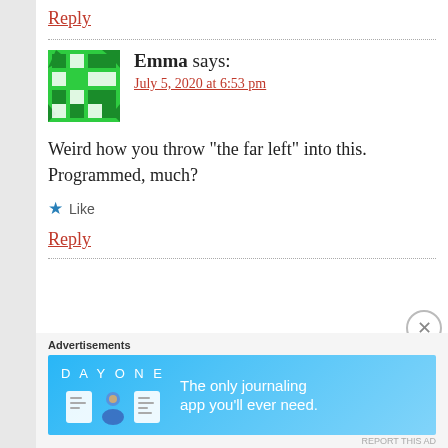Reply
Emma says:
July 5, 2020 at 6:53 pm
Weird how you throw “the far left” into this. Programmed, much?
★ Like
Reply
Advertisements
[Figure (other): Day One journaling app advertisement banner with text: The only journaling app you'll ever need.]